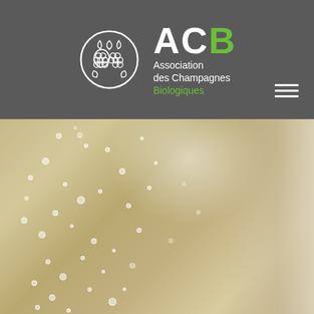[Figure (logo): ACB - Association des Champagnes Biologiques logo with globe/grape icon, white and green text on dark grey background, with hamburger menu icon]
[Figure (photo): Close-up photograph of champagne bubbles rising in a glass, warm golden/beige tones, glass edge visible on right side]